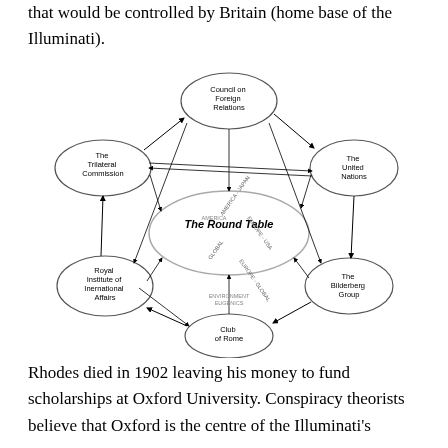that would be controlled by Britain (home base of the Illuminati).
[Figure (network-graph): Network diagram showing The Round Table at the center (in an ellipse) connected by arrows to five outer oval nodes: Council on Foreign Relations (top), The United Nations (right), The Bilderberg Group (bottom-right), Club of Rome (bottom), Royal Institute of International Affairs (left), and The Trilateral Commission (top-left). The outer nodes are also connected to each other in a pentagon with labeled arrows: AMERICA, EUROPE-JAPAN, GLOBAL, ENVIRONMENT/EUGENICS, EUROPE-USA-GLOBAL, AMERICA-GLOBAL.]
Rhodes died in 1902 leaving his money to fund scholarships at Oxford University. Conspiracy theorists believe that Oxford is the centre of the Illuminati's